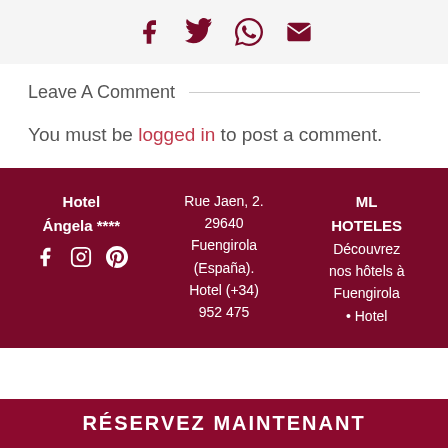[Figure (other): Social share icons: Facebook, Twitter, WhatsApp, Email in dark red on light grey background]
Leave A Comment
You must be logged in to post a comment.
Hotel Ángela **** | Rue Jaen, 2. 29640 Fuengirola (España). Hotel (+34) 952 475 | ML HOTELES Découvrez nos hôtels à Fuengirola • Hotel
RÉSERVEZ MAINTENANT